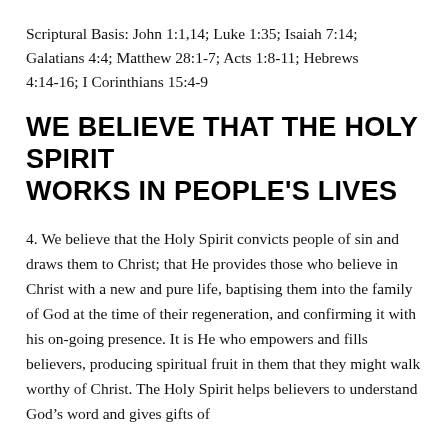Scriptural Basis: John 1:1,14; Luke 1:35; Isaiah 7:14; Galatians 4:4; Matthew 28:1-7; Acts 1:8-11; Hebrews 4:14-16; I Corinthians 15:4-9
WE BELIEVE THAT THE HOLY SPIRIT WORKS IN PEOPLE'S LIVES
4. We believe that the Holy Spirit convicts people of sin and draws them to Christ; that He provides those who believe in Christ with a new and pure life, baptising them into the family of God at the time of their regeneration, and confirming it with his on-going presence. It is He who empowers and fills believers, producing spiritual fruit in them that they might walk worthy of Christ. The Holy Spirit helps believers to understand God's word and gives gifts of